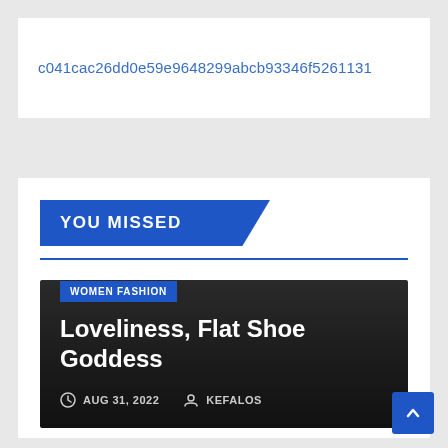c041cac26dd0e59e9648299abcb93346f5261131
YOU MISSED
[Figure (screenshot): Dark article card with 'WOMEN FASHION' badge, title 'Loveliness, Flat Shoe Goddess', date AUG 31, 2022, author KEFALOS]
AUG 31, 2022   KEFALOS